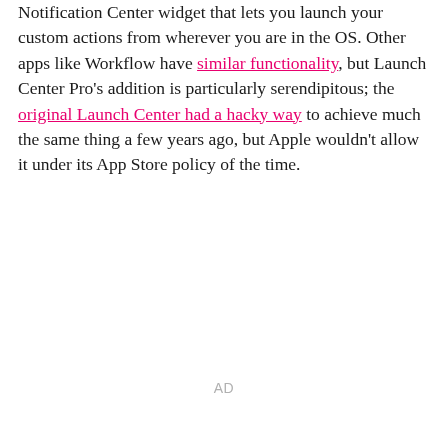Notification Center widget that lets you launch your custom actions from wherever you are in the OS. Other apps like Workflow have similar functionality, but Launch Center Pro's addition is particularly serendipitous; the original Launch Center had a hacky way to achieve much the same thing a few years ago, but Apple wouldn't allow it under its App Store policy of the time.
AD